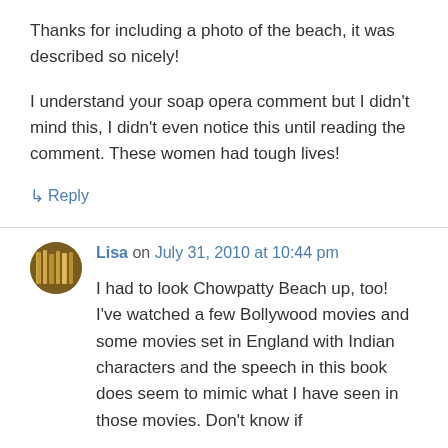Thanks for including a photo of the beach, it was described so nicely!
I understand your soap opera comment but I didn't mind this, I didn't even notice this until reading the comment. These women had tough lives!
↳ Reply
Lisa on July 31, 2010 at 10:44 pm
I had to look Chowpatty Beach up, too! I've watched a few Bollywood movies and some movies set in England with Indian characters and the speech in this book does seem to mimic what I have seen in those movies. Don't know if